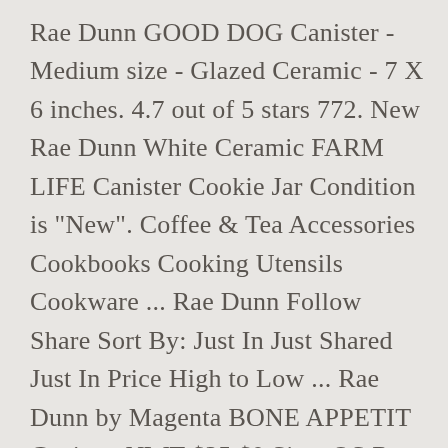Rae Dunn GOOD DOG Canister - Medium size - Glazed Ceramic - 7 X 6 inches. 4.7 out of 5 stars 772. New Rae Dunn White Ceramic FARM LIFE Canister Cookie Jar Condition is "New". Coffee & Tea Accessories Cookbooks Cooking Utensils Cookware ... Rae Dunn Follow Share Sort By: Just In Just Shared Just In Price High to Low ... Rae Dunn by Magenta BONE APPETIT Canister NWT $35 $0 Size: OS Rae Dunn cbananas. Item location: Cookeville, Tennessee, United States. Brand New . FREE Shipping by Amazon. “Perfectly imperfect. $68.99. Rae Dunn Christmas. C $82.98. Price: US $21.75. With millions of unique furniture, décor, and housewares options, we'll help you find the